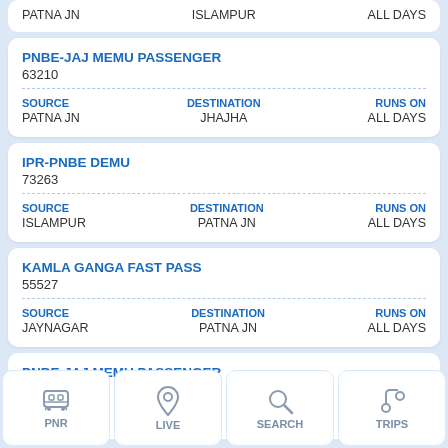PATNA JN | ISLAMPUR | ALL DAYS
PNBE-JAJ MEMU PASSENGER
63210
| SOURCE | DESTINATION | RUNS ON |
| --- | --- | --- |
| PATNA JN | JHAJHA | ALL DAYS |
IPR-PNBE DEMU
73263
| SOURCE | DESTINATION | RUNS ON |
| --- | --- | --- |
| ISLAMPUR | PATNA JN | ALL DAYS |
KAMLA GANGA FAST PASS
55527
| SOURCE | DESTINATION | RUNS ON |
| --- | --- | --- |
| JAYNAGAR | PATNA JN | ALL DAYS |
PNBE-JAJ MEMU PASSENGER
63212
SOURCE | DESTINATION | RUNS ON
PATNA | JHAJHA | ALL DAYS
PNR  LIVE  SEARCH  TRIPS